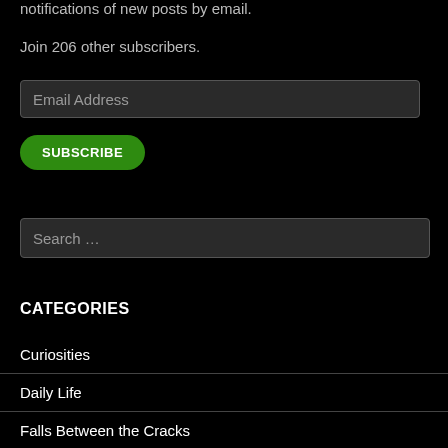notifications of new posts by email.
Join 206 other subscribers.
Email Address
SUBSCRIBE
Search …
CATEGORIES
Curiosities
Daily Life
Falls Between the Cracks
Films/Books